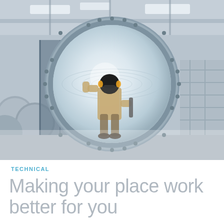[Figure (photo): Industrial facility interior with a worker in protective gear (helmet, ear protection, protective suit) standing inside a large circular metal pipe/turbine component with bolted flange. The background shows a large industrial warehouse with fluorescent lighting, large cylindrical rolls, and equipment. The image has a desaturated, blue-grey tone.]
TECHNICAL
Making your place work better for you